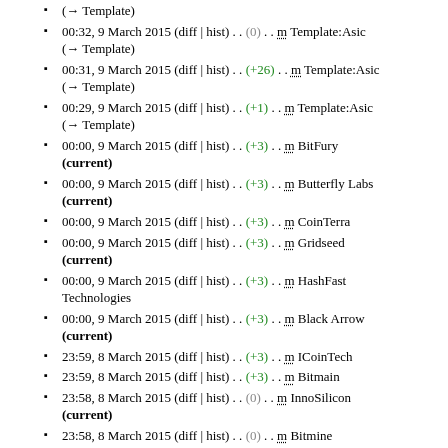(→ Template)
00:32, 9 March 2015 (diff | hist) . . (0) . . m Template:Asic (→ Template)
00:31, 9 March 2015 (diff | hist) . . (+26) . . m Template:Asic (→ Template)
00:29, 9 March 2015 (diff | hist) . . (+1) . . m Template:Asic (→ Template)
00:00, 9 March 2015 (diff | hist) . . (+3) . . m BitFury (current)
00:00, 9 March 2015 (diff | hist) . . (+3) . . m Butterfly Labs (current)
00:00, 9 March 2015 (diff | hist) . . (+3) . . m CoinTerra
00:00, 9 March 2015 (diff | hist) . . (+3) . . m Gridseed (current)
00:00, 9 March 2015 (diff | hist) . . (+3) . . m HashFast Technologies
00:00, 9 March 2015 (diff | hist) . . (+3) . . m Black Arrow (current)
23:59, 8 March 2015 (diff | hist) . . (+3) . . m ICoinTech
23:59, 8 March 2015 (diff | hist) . . (+3) . . m Bitmain
23:58, 8 March 2015 (diff | hist) . . (0) . . m InnoSilicon (current)
23:58, 8 March 2015 (diff | hist) . . (0) . . m Bitmine
23:58, 8 March 2015 (diff | hist) . . (0) . . KnCMiner (current)
23:58, 8 March 2015 (diff | hist) . . (0) . . m ASICMiner
23:58, 8 March 2015 (diff | hist) . . (0) . . m Spondoolies-Tech